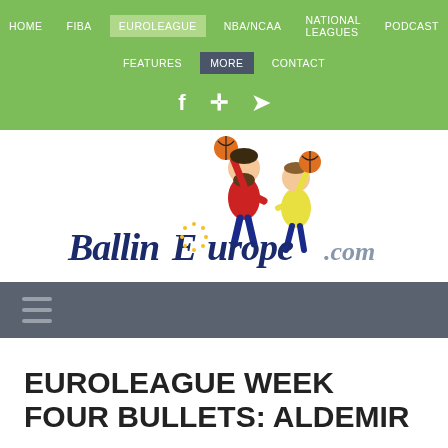HOME  FIBA  EUROLEAGUE  NBA/NCAA  NATIONAL LEAGUES  PODCAST  FEATURES  MORE  CONTACT
[Figure (logo): BallinEurope.com logo with cartoon basketball players]
[Figure (other): Hamburger menu icon / navigation toggle bar]
EUROLEAGUE WEEK FOUR BULLETS: ALDEMIR